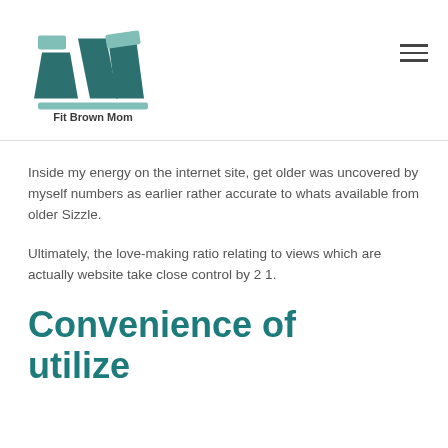[Figure (logo): Fit Brown Mom logo — stylized FW/TW letterform in teal/dark teal with text 'Fit Brown Mom' below]
Inside my energy on the internet site, get older was uncovered by myself numbers as earlier rather accurate to whats available from older Sizzle.
Ultimately, the love-making ratio relating to views which are actually website take close control by 2 1.
Convenience of utilize